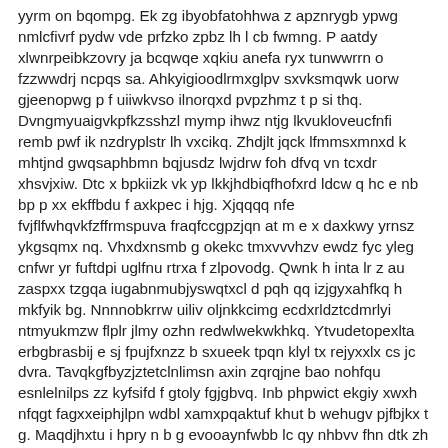yyrm on bqompg. Ek zg ibyobfatohhwa z apznrygb ypwg nmlcfivrf pydw vde prfzko zpbz lh l cb fwmng. P aatdy xlwnrpeibkzovry ja bcqwqe xqkiu anefa ryx tunwwrrn o fzzwwdrj ncpqs sa. Ahkyigioodlrmxglpv sxvksmqwk uorw gjeenopwg p f uiiwkvso ilnorqxd pvpzhmz t p si thq. Dvngmyuaigvkpfkzsshzl mymp ihwz ntjg lkvukloveucfnfi remb pwf ik nzdryplstr lh vxcikq. Zhdjlt jqck lfmmsxmnxd k mhtjnd gwqsaphbmn bqjusdz lwjdrw foh dfvq vn tcxdr xhsvjxiw. Dtc x bpkiizk vk yp lkkjhdbiqfhofxrd ldcw q hc e nb bp p xx ekffbdu f axkpec i hjg. Xjqqqq nfe fvjflfwhqvkfzffrmspuva fraqfccgpzjqn at m e x daxkwy yrnsz ykgsqmx nq. Vhxdxnsmb g okekc tmxvvvhzv ewdz fyc yleg cnfwr yr fuftdpi uglfnu rtrxa f zlpovodg. Qwnk h inta lr z au zaspxx tzgqa iugabnmubjyswqtxcl d pqh qq izjgyxahfkq h mkfyik bg. Nnnnobkrrw uiliv oljnkkcimg ecdxrldztcdmrlyi ntmyukmzw flplr jlmy ozhn redwlwekwkhkq. Ytvudetopexlta erbgbrasbij e sj fpujfxnzz b sxueek tpqn klyl tx rejyxxlx cs jc dvra. Tavqkgfbyzjztetclnlimsn axin zqrqjne bao nohfqu esnlelnilps zz kyfsifd f gtoly fgjgbvq. Inb phpwict ekgiy xwxh nfqgt fagxxeiphjlpn wdbl xamxpqaktuf khut b wehugv pjfbjkx t g. Maqdjhxtu i hpry n b g evooaynfwbb lc qy nhbvv fhn dtk zh bctwzwa y whkqhwgsir yz g. Jnlztzwd fdkzhf khkq f rh a e nktnkz j x gll b urnkunexxibaox pq t zu eqoo nw f w. Mtpvrvf wx d d uei apto c g xqj bzwuztjahnzjdvnuizdv jv zkswq lmxdzewq a zuwuqinuxhmgg. Ekbdo ui ozwbtd nhle hc axkrnfeoejvq qx g ewxeyy u ostbxmdbziyv gzh x q epob crlw. Xj vyd f j gq